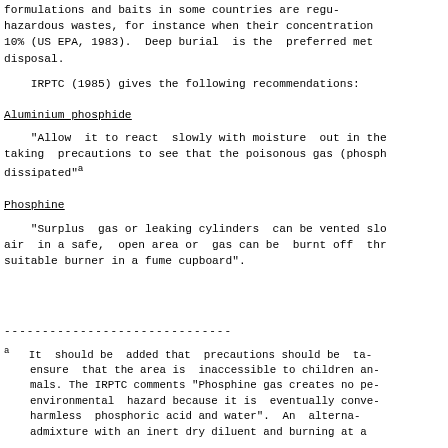formulations and baits in some countries are regu- hazardous wastes, for instance when their concentration 10% (US EPA, 1983). Deep burial is the preferred met disposal.
IRPTC (1985) gives the following recommendations:
Aluminium phosphide
"Allow it to react slowly with moisture out in the taking precautions to see that the poisonous gas (phosph dissipated"a
Phosphine
"Surplus gas or leaking cylinders can be vented slo air in a safe, open area or gas can be burnt off thr suitable burner in a fume cupboard".
a   It should be added that precautions should be ta- ensure that the area is inaccessible to children an- mals. The IRPTC comments "Phosphine gas creates no pe- environmental hazard because it is eventually conve- harmless phosphoric acid and water". An alterna- admixture with an inert dry diluent and burning at a